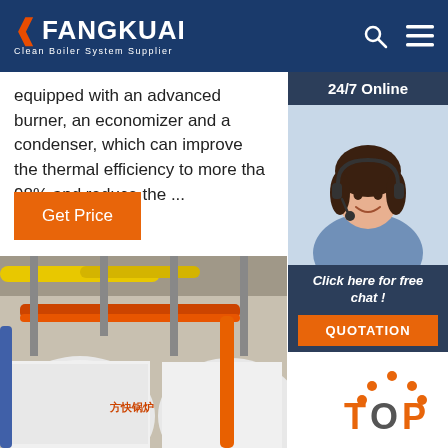FANGKUAI — Clean Boiler System Supplier
equipped with an advanced burner, an economizer and a condenser, which can improve the thermal efficiency to more than 98% and reduce the ...
Get Price
[Figure (photo): Customer service agent with headset smiling, with '24/7 Online' label and 'Click here for free chat!' text and QUOTATION button]
[Figure (photo): Industrial boiler facility interior showing large white boiler tanks, yellow and orange pipes overhead, Fangkuai branding visible]
TOP